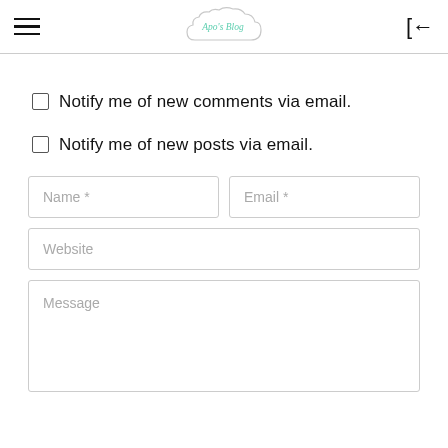Apo's Blog
Notify me of new comments via email.
Notify me of new posts via email.
Name *
Email *
Website
Message